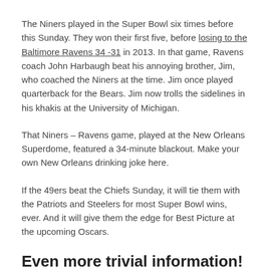The Niners played in the Super Bowl six times before this Sunday. They won their first five, before losing to the Baltimore Ravens 34 -31 in 2013. In that game, Ravens coach John Harbaugh beat his annoying brother, Jim, who coached the Niners at the time. Jim once played quarterback for the Bears. Jim now trolls the sidelines in his khakis at the University of Michigan.
That Niners – Ravens game, played at the New Orleans Superdome, featured a 34-minute blackout. Make your own New Orleans drinking joke here.
If the 49ers beat the Chiefs Sunday, it will tie them with the Patriots and Steelers for most Super Bowl wins, ever. And it will give them the edge for Best Picture at the upcoming Oscars.
Even more trivial information!